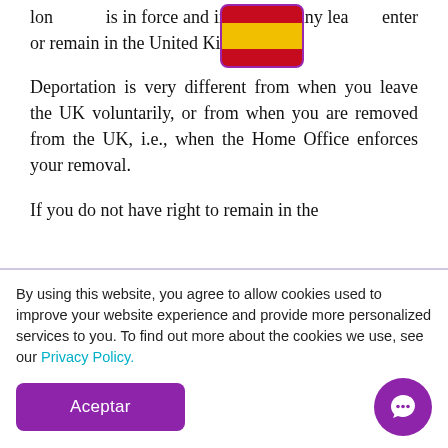longer is in force and invalidates any leave to enter or remain in the United Kingdom.
Deportation is very different from when you leave the UK voluntarily, or from when you are removed from the UK, i.e., when the Home Office enforces your removal.
If you do not have right to remain in the
By using this website, you agree to allow cookies used to improve your website experience and provide more personalized services to you. To find out more about the cookies we use, see our Privacy Policy.
Aceptar